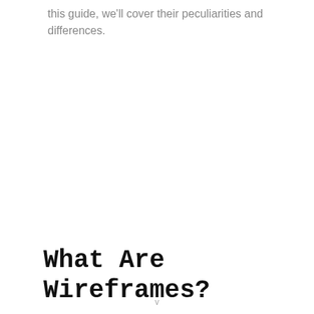this guide, we'll cover their peculiarities and differences.
What Are Wireframes?
v